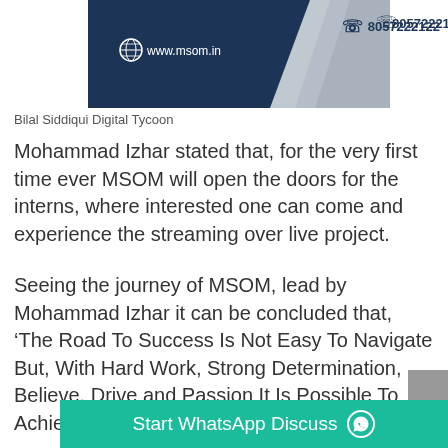[Figure (other): MSOM header banner with dark navy blue background, globe icon, www.msom.in website URL, and phone number 8057222122]
Bilal Siddiqui Digital Tycoon
Mohammad Izhar stated that, for the very first time ever MSOM will open the doors for the interns, where interested one can come and experience the streaming over live project.
Seeing the journey of MSOM, lead by Mohammad Izhar it can be concluded that, ‘The Road To Success Is Not Easy To Navigate But, With Hard Work, Strong Determination, Believe, Drive and Passion It Is Possible To Achieve The Extraordinary Success.’
Start WhatsApp Discuss